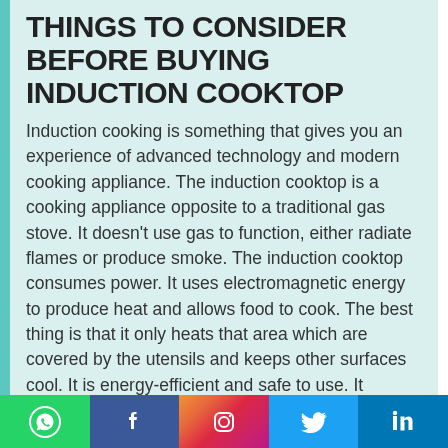THINGS TO CONSIDER BEFORE BUYING INDUCTION COOKTOP
Induction cooking is something that gives you an experience of advanced technology and modern cooking appliance. The induction cooktop is a cooking appliance opposite to a traditional gas stove. It doesn't use gas to function, either radiate flames or produce smoke. The induction cooktop consumes power. It uses electromagnetic energy to produce heat and allows food to cook. The best thing is that it only heats that area which are covered by the utensils and keeps other surfaces cool. It is energy-efficient and safe to use. It quickly prepares meal, which makes it time-efficient too. It is an easy way to cook food and is easy to clean also. Its cooking surface is smooth and made up of glass